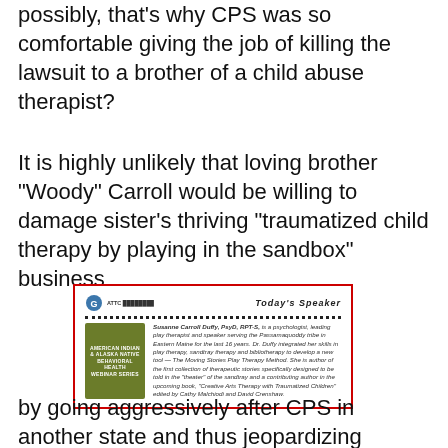possibly, that's why CPS was so comfortable giving the job of killing the lawsuit to a brother of a child abuse therapist?
It is highly unlikely that loving brother "Woody" Carroll would be willing to damage sister's thriving "traumatized child therapy by playing in the sandbox" business
[Figure (other): A speaker card from ATTC (American Indian & Alaska Native Behavioral Health Webinar Series) showing Today's Speaker: Susanne Carroll Duffy, PsyD, RPT-S, described as a psychologist, leading play therapist and speaker serving the Passamaquoddy tribe in Eastern Maine for the last 16 years. Details about her work in play therapy, sandtray therapy and bibliotherapy, the Moving Stories Play Therapy Method, and contributions to 'Creative Arts Therapy with Traumatized Children' edited by Cathy Malchiodi and David Crenshaw.]
by going aggressively after CPS in another state and thus jeopardizing lucrative referrals of children to his